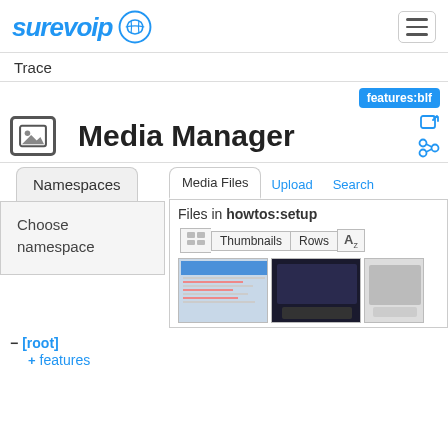[Figure (logo): SureVoIP logo with globe icon in blue]
Trace
features:blf
Media Manager
Namespaces
Choose namespace
Media Files  Upload  Search
Files in howtos:setup
Thumbnails  Rows
− [root]
+ features